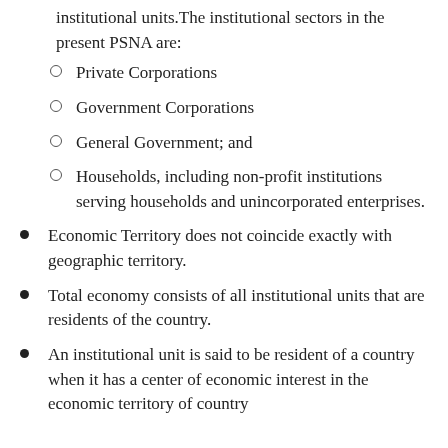institutional units.The institutional sectors in the present PSNA are:
Private Corporations
Government Corporations
General Government; and
Households, including non-profit institutions serving households and unincorporated enterprises.
Economic Territory does not coincide exactly with geographic territory.
Total economy consists of all institutional units that are residents of the country.
An institutional unit is said to be resident of a country when it has a center of economic interest in the economic territory of country